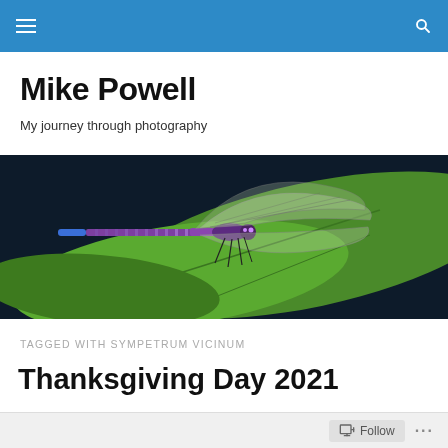Mike Powell – navigation bar with hamburger menu and search icon
Mike Powell
My journey through photography
[Figure (photo): Close-up macro photograph of a purple/violet damselfly (Sympetrum vicinum) resting on a bright green leaf against a dark background. The insect has translucent wings and a slender purple-striped body with a blue tip.]
TAGGED WITH SYMPETRUM VICINUM
Thanksgiving Day 2021
Follow  ···